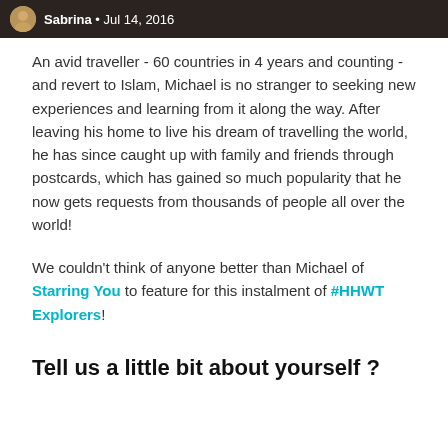Sabrina • Jul 14, 2016
An avid traveller - 60 countries in 4 years and counting - and revert to Islam, Michael is no stranger to seeking new experiences and learning from it along the way. After leaving his home to live his dream of travelling the world, he has since caught up with family and friends through postcards, which has gained so much popularity that he now gets requests from thousands of people all over the world!
We couldn't think of anyone better than Michael of Starring You to feature for this instalment of #HHWT Explorers!
Tell us a little bit about yourself ?